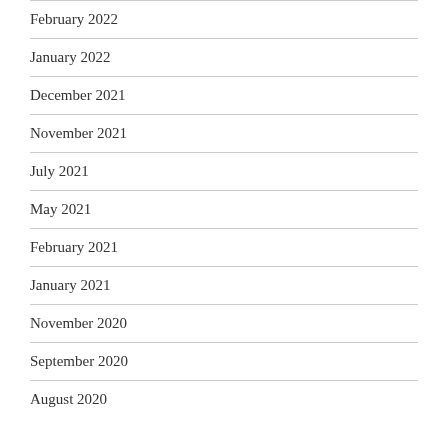February 2022
January 2022
December 2021
November 2021
July 2021
May 2021
February 2021
January 2021
November 2020
September 2020
August 2020